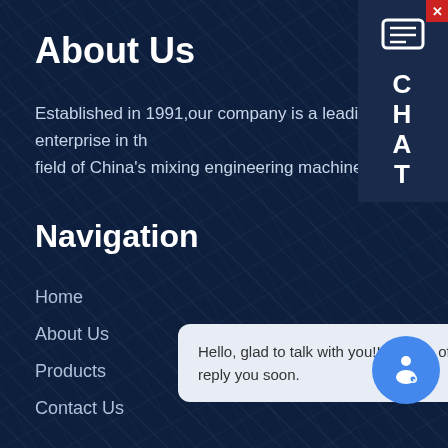About Us
Established in 1991,our company is a leading enterprise in the field of China's mixing engineering machinery.
Navigation
Home
About Us
Products
Contact Us
Proje
Hello, glad to talk with you!In needs of Engineering Machinery?Kindly leave your name & email, we will reply you soon.